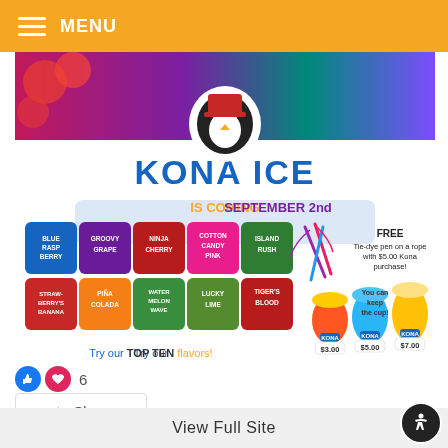MENU
[Figure (illustration): Kona Ice promotional flyer showing a penguin mascot with the Kona Ice logo, 'IS COMING SEPTEMBER 2nd', top ten flavor badges, tie-dye pen on a rope promotion, and shaved ice cups priced at $3.00, $5.00, $7.00 with a free tie-dye pen with $5.00 purchase offer.]
6
Share
Suncoast Polytechnical High School
View Full Site